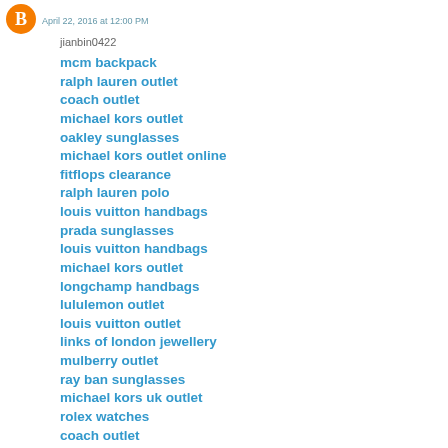[Figure (logo): Orange circle blogger logo icon]
April 22, 2016 at 12:00 PM
jianbin0422
mcm backpack
ralph lauren outlet
coach outlet
michael kors outlet
oakley sunglasses
michael kors outlet online
fitflops clearance
ralph lauren polo
louis vuitton handbags
prada sunglasses
louis vuitton handbags
michael kors outlet
longchamp handbags
lululemon outlet
louis vuitton outlet
links of london jewellery
mulberry outlet
ray ban sunglasses
michael kors uk outlet
rolex watches
coach outlet